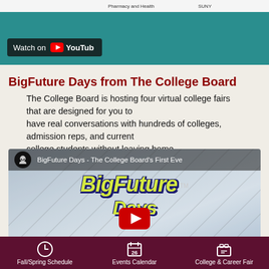[Figure (screenshot): Top banner showing a YouTube embedded video player with teal/blue background and Watch on YouTube overlay button]
BigFuture Days from The College Board
The College Board is hosting four virtual college fairs that are designed for you to have real conversations with hundreds of colleges, admission reps, and current college students without leaving home.
[Figure (screenshot): YouTube video thumbnail for BigFuture Days - The College Board's First Eve, showing BigFuture Days logo text in yellow/green on blue background with red YouTube play button]
Fall/Spring Schedule    Events Calendar    College & Career Fair